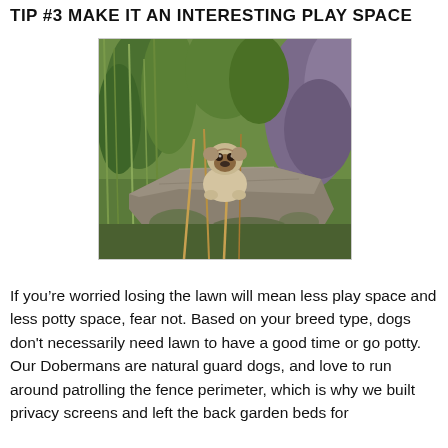TIP #3 MAKE IT AN INTERESTING PLAY SPACE
[Figure (photo): A pug dog sitting on a large stone boulder in a garden setting surrounded by ornamental grasses, heather, and other plants.]
If you’re worried losing the lawn will mean less play space and less potty space, fear not. Based on your breed type, dogs don’t necessarily need lawn to have a good time or go potty. Our Dobermans are natural guard dogs, and love to run around patrolling the fence perimeter, which is why we built privacy screens and left the back garden beds for